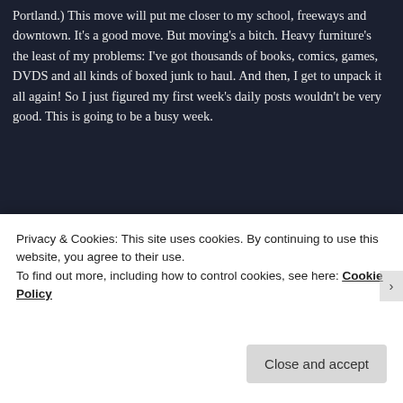Portland.) This move will put me closer to my school, freeways and downtown. It's a good move. But moving's a bitch. Heavy furniture's the least of my problems: I've got thousands of books, comics, games, DVDS and all kinds of boxed junk to haul. And then, I get to unpack it all again! So I just figured my first week's daily posts wouldn't be very good. This is going to be a busy week.
[Figure (screenshot): Advertisement banner reading 'Create immersive stories.' on a blue-green gradient background, with a phone screen showing 'VISITING SKOGAFOSS' waterfall photo on the right side]
Privacy & Cookies: This site uses cookies. By continuing to use this website, you agree to their use.
To find out more, including how to control cookies, see here: Cookie Policy
Close and accept